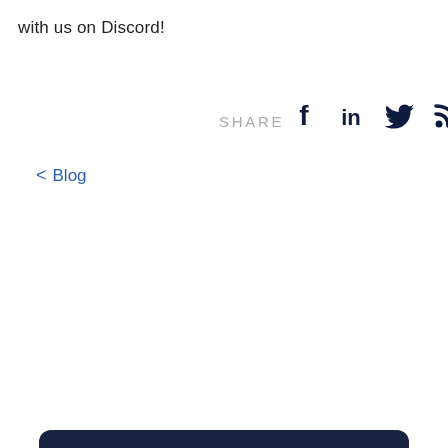with us on Discord!
SHARE
[Figure (other): Social share icons: Facebook (f), LinkedIn (in), Twitter bird, RSS feed]
< Blog